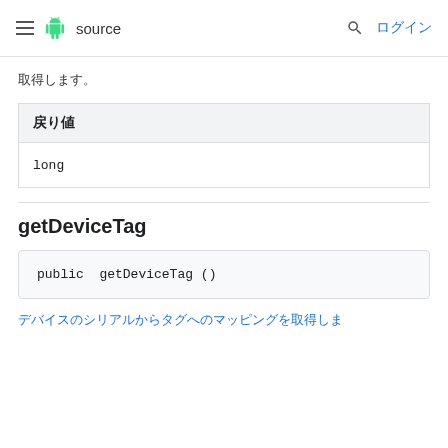≡ 🤖 source  🔍 ログイン
取得します。
| 戻り値 |
| --- |
| long |
getDeviceTag
public  getDeviceTag ()
デバイスのシリアルからタグへのマッピングを取得しま